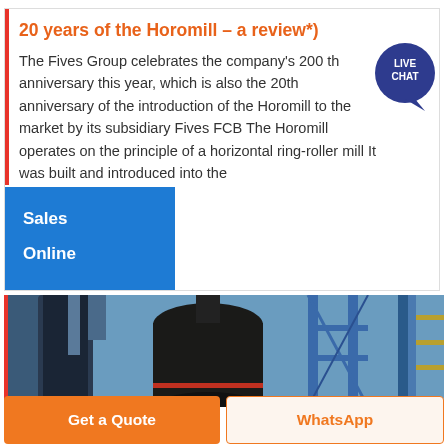20 years of the Horomill – a review*)
The Fives Group celebrates the company's 200 th anniversary this year, which is also the 20th anniversary of the introduction of the Horomill to the market by its subsidiary Fives FCB The Horomill operates on the principle of a horizontal ring-roller mill It was built and introduced into the
[Figure (other): Live Chat bubble overlay — circular badge with text LIVE CHAT in dark navy blue]
Sales
Online
[Figure (photo): Industrial photo showing large industrial mill equipment with blue metal structures, cylindrical components, and scaffolding — appears to be a Horomill installation]
Get a Quote
WhatsApp